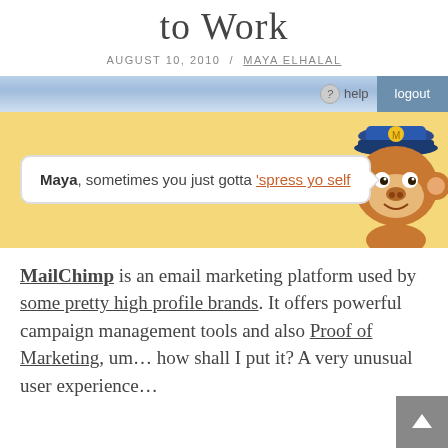to Work
AUGUST 10, 2010 / MAYA ELHALAL
[Figure (screenshot): MailChimp app screenshot showing blue navigation bar with help and logout buttons, yellow background area with a speech bubble saying 'Maya, sometimes you just gotta spress yo self' and a cartoon monkey mascot wearing a blue hat]
MailChimp is an email marketing platform used by some pretty high profile brands. It offers powerful campaign management tools and also Proof of Marketing, um... how shall I put it? A very unusual user experience...